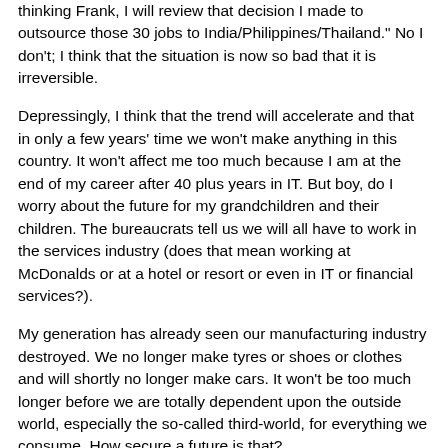thinking Frank, I will review that decision I made to outsource those 30 jobs to India/Philippines/Thailand." No I don't; I think that the situation is now so bad that it is irreversible.
Depressingly, I think that the trend will accelerate and that in only a few years' time we won't make anything in this country. It won't affect me too much because I am at the end of my career after 40 plus years in IT. But boy, do I worry about the future for my grandchildren and their children. The bureaucrats tell us we will all have to work in the services industry (does that mean working at McDonalds or at a hotel or resort or even in IT or financial services?).
My generation has already seen our manufacturing industry destroyed. We no longer make tyres or shoes or clothes and will shortly no longer make cars. It won't be too much longer before we are totally dependent upon the outside world, especially the so-called third-world, for everything we consume. How secure a future is that?
Your generation dear reader, will most likely see most services, including IT and financial services, outsourced in the next few years.  The world is now so interconnected there is no reason to do anything in a high cost country like Australia including IT and financial services. All we will have to